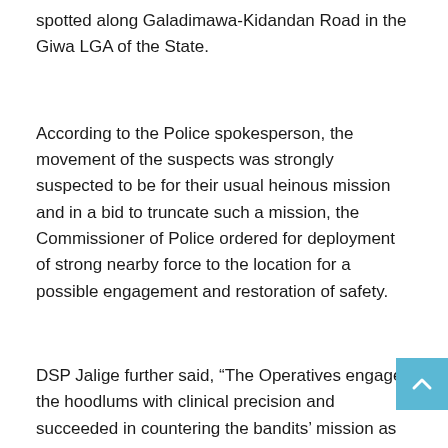spotted along Galadimawa-Kidandan Road in the Giwa LGA of the State.
According to the Police spokesperson, the movement of the suspects was strongly suspected to be for their usual heinous mission and in a bid to truncate such a mission, the Commissioner of Police ordered for deployment of strong nearby force to the location for a possible engagement and restoration of safety.
DSP Jalige further said, “The Operatives engaged the hoodlums with clinical precision and succeeded in countering the bandits’ mission as they were compelled to retreat into the forest with some sustaining bullet injuries while one other